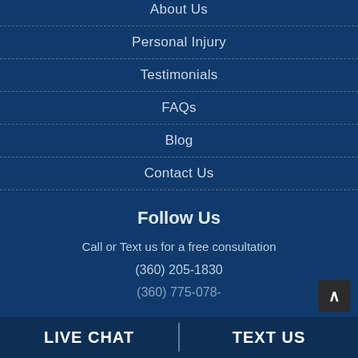About Us
Personal Injury
Testimonials
FAQs
Blog
Contact Us
Follow Us
Call or Text us for a free consultation
(360) 205-1830
(360) 775-078-
LIVE CHAT   TEXT US